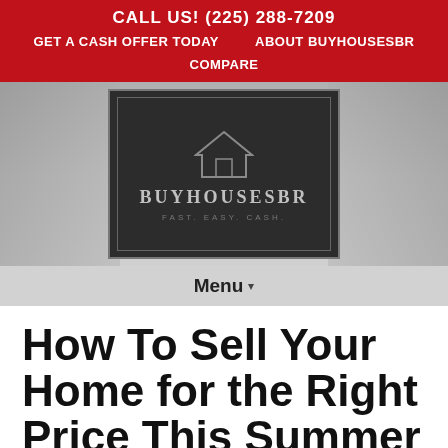CALL US! (225) 288-7209
GET A CASH OFFER TODAY   ABOUT BUYHOUSESBR
COMPARE
[Figure (logo): BuyHousesBR logo: dark background with house icon outline, text BUYHOUSESBR and tagline FAST. EASY. CASH.]
Menu ▾
How To Sell Your Home for the Right Price This Summer in Baton Rouge